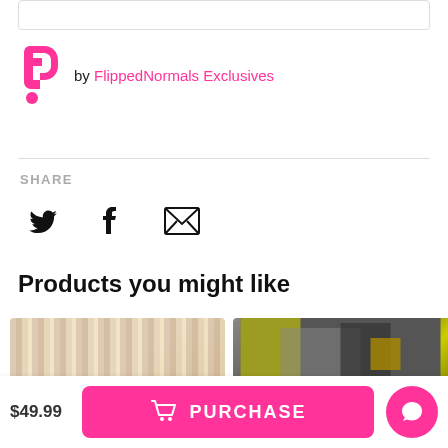[Figure (logo): FlippedNormals pink F logo with dot, followed by text 'by FlippedNormals Exclusives' in pink]
SHARE
[Figure (infographic): Three social share icons: Twitter bird, Facebook f, and email envelope]
Products you might like
[Figure (photo): Two product thumbnail images side by side, partially visible]
$49.99
PURCHASE